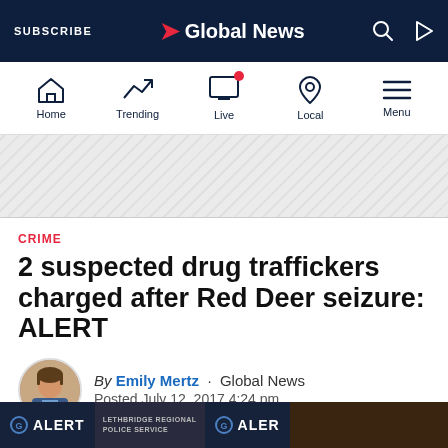SUBSCRIBE | Global News
[Figure (screenshot): Global News website navigation bar with Home, Trending, Live, Local, Menu icons]
[Figure (other): Advertisement banner area with diagonal stripe pattern]
CRIME
2 suspected drug traffickers charged after Red Deer seizure: ALERT
By Emily Mertz · Global News
Posted July 12, 2017 4:24 pm
[Figure (photo): Photo of ALERT (Alberta Law Enforcement Response Teams) signage at bottom of page]